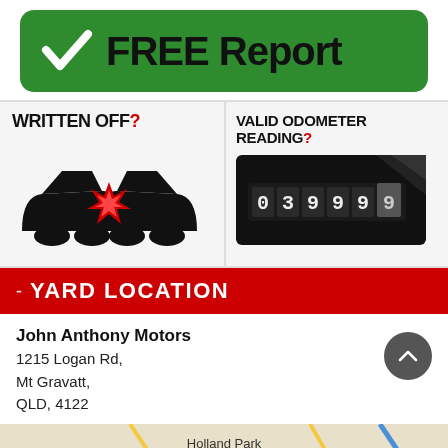[Figure (infographic): Green rounded rectangle banner with white checkmark icon and bold text 'FREE Report']
[Figure (infographic): Two-panel infographic: left panel shows 'WRITTEN OFF?' text with car crash illustration (two black cars colliding with red explosion); right panel shows 'VALID ODOMETER READING?' text with close-up photo of odometer reading 039999]
YARD LOCATION
John Anthony Motors
1215 Logan Rd,
Mt Gravatt,
QLD, 4122
[Figure (map): Google Maps snippet showing Holland Park area with road network]